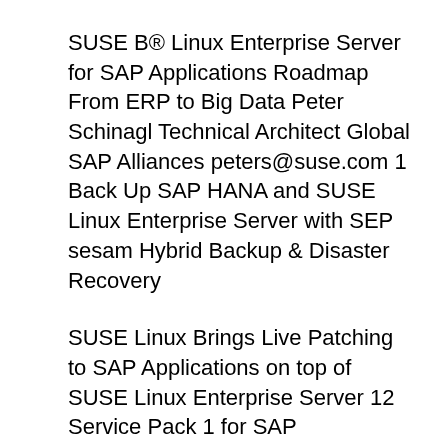SUSE B® Linux Enterprise Server for SAP Applications Roadmap From ERP to Big Data Peter Schinagl Technical Architect Global SAP Alliances peters@suse.com 1 Back Up SAP HANA and SUSE Linux Enterprise Server with SEP sesam Hybrid Backup & Disaster Recovery
SUSE Linux Brings Live Patching to SAP Applications on top of SUSE Linux Enterprise Server 12 Service Pack 1 for SAP Applications, which is SUSE's SUSE Linux Brings Live Patching to SAP Applications on top of SUSE Linux Enterprise Server 12 Service Pack 1 for SAP Applications, which is SUSE's